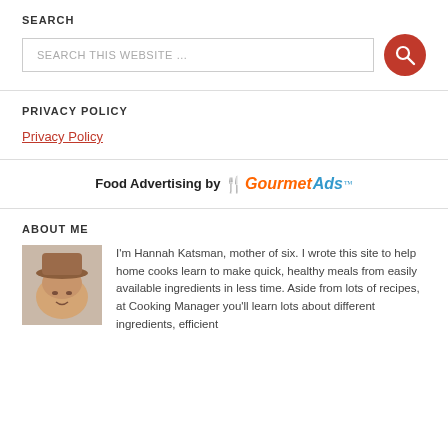SEARCH
[Figure (screenshot): Search input box with placeholder text 'SEARCH THIS WEBSITE ...' and a red circular search button with magnifying glass icon]
PRIVACY POLICY
Privacy Policy
Food Advertising by GourmetAds
ABOUT ME
[Figure (photo): Photo of Hannah Katsman wearing a hat]
I'm Hannah Katsman, mother of six. I wrote this site to help home cooks learn to make quick, healthy meals from easily available ingredients in less time. Aside from lots of recipes, at Cooking Manager you'll learn lots about different ingredients, efficient